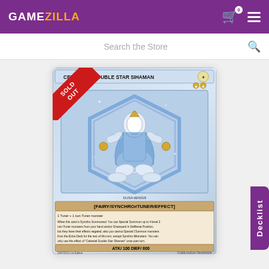GAMEZILLA
Search the Store
[Figure (photo): Yu-Gi-Oh trading card: Celestial Double Star Shaman [Fairy/Synchro/Tuner/Effect], with SOLD OUT ribbon overlay. Card shows a white/silver armored fairy creature in a hexagonal frame. ATK/100 DEF/800. DUSA-EN018. 25472513 1st Edition. ©1996 KAZUKI TAKAHASHI]
Decklist